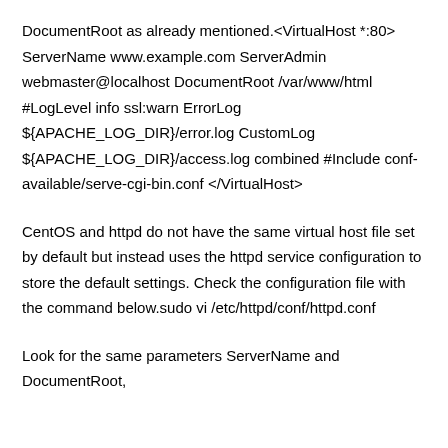DocumentRoot as already mentioned.<VirtualHost *:80> ServerName www.example.com ServerAdmin webmaster@localhost DocumentRoot /var/www/html #LogLevel info ssl:warn ErrorLog ${APACHE_LOG_DIR}/error.log CustomLog ${APACHE_LOG_DIR}/access.log combined #Include conf-available/serve-cgi-bin.conf </VirtualHost>
CentOS and httpd do not have the same virtual host file set by default but instead uses the httpd service configuration to store the default settings. Check the configuration file with the command below.sudo vi /etc/httpd/conf/httpd.conf
Look for the same parameters ServerName and DocumentRoot,